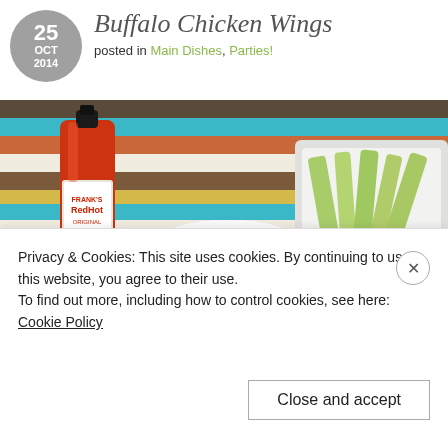Buffalo Chicken Wings
posted in Main Dishes, Parties!
[Figure (photo): Overhead photo of hot sauce bottle, white bowl with sour cream/dip, and rectangular dish of celery sticks on a colorful chevron-patterned tablecloth on a wooden cutting board]
Privacy & Cookies: This site uses cookies. By continuing to use this website, you agree to their use.
To find out more, including how to control cookies, see here: Cookie Policy
Close and accept